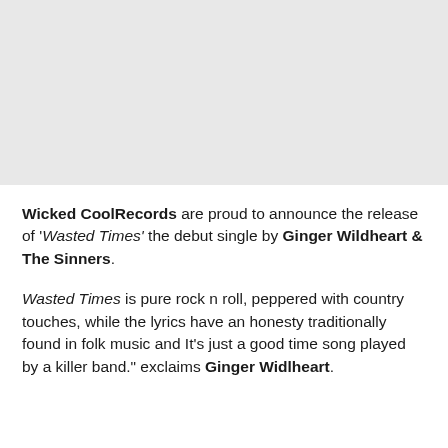[Figure (photo): Gray placeholder image area at the top of the page]
Wicked CoolRecords are proud to announce the release of 'Wasted Times' the debut single by Ginger Wildheart & The Sinners.
Wasted Times is pure rock n roll, peppered with country touches, while the lyrics have an honesty traditionally found in folk music and It's just a good time song played by a killer band." exclaims Ginger Widlheart.